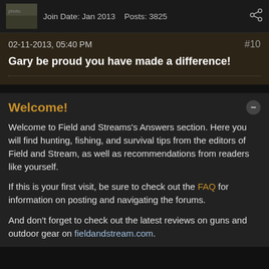Join Date: Jan 2013   Posts: 3825
02-11-2013, 05:40 PM   #10
Gary be proud you have made a difference!
Welcome!
Welcome to Field and Streams's Answers section. Here you will find hunting, fishing, and survival tips from the editors of Field and Stream, as well as recommendations from readers like yourself.
If this is your first visit, be sure to check out the FAQ for information on posting and navigating the forums.
And don't forget to check out the latest reviews on guns and outdoor gear on fieldandstream.com.